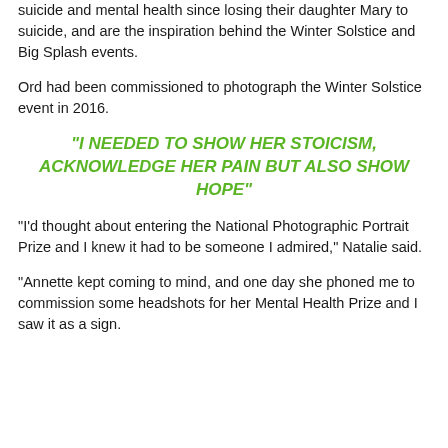suicide and mental health since losing their daughter Mary to suicide, and are the inspiration behind the Winter Solstice and Big Splash events.
Ord had been commissioned to photograph the Winter Solstice event in 2016.
“I NEEDED TO SHOW HER STOICISM, ACKNOWLEDGE HER PAIN BUT ALSO SHOW HOPE”
“I’d thought about entering the National Photographic Portrait Prize and I knew it had to be someone I admired,” Natalie said.
“Annette kept coming to mind, and one day she phoned me to commission some headshots for her Mental Health Prize and I saw it as a sign.